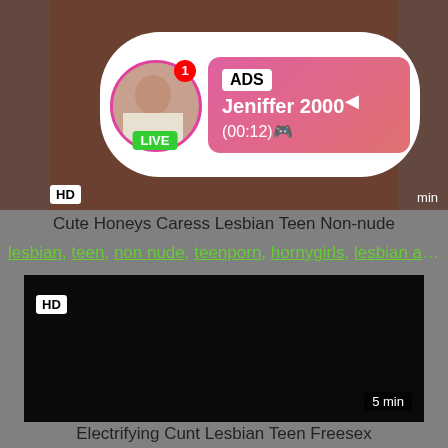[Figure (screenshot): Video thumbnail with brownish background representing a video player, with HD badge and ad overlay showing avatar with LIVE badge and ADS notification]
Cute Honeys Caress Lesbian Teen Non-nude
lesbian, teen, non nude, teenporn, hornygirls, lesbian ass...
[Figure (screenshot): Black video player thumbnail with HD badge in bottom-left and 5 min badge in bottom-right]
Electrifying Cunt Lesbian Teen Freesex